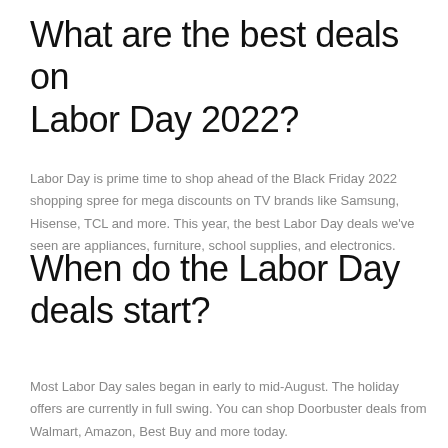What are the best deals on Labor Day 2022?
Labor Day is prime time to shop ahead of the Black Friday 2022 shopping spree for mega discounts on TV brands like Samsung, Hisense, TCL and more. This year, the best Labor Day deals we've seen are appliances, furniture, school supplies, and electronics.
When do the Labor Day deals start?
Most Labor Day sales began in early to mid-August. The holiday offers are currently in full swing. You can shop Doorbuster deals from Walmart, Amazon, Best Buy and more today.